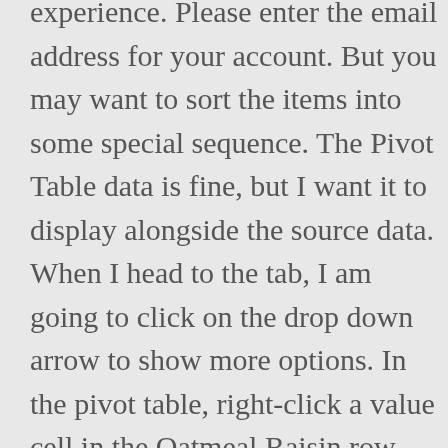experience. Please enter the email address for your account. But you may want to sort the items into some special sequence. The Pivot Table data is fine, but I want it to display alongside the source data. When I head to the tab, I am going to click on the drop down arrow to show more options. In the pivot table, right-click a value cell in the Oatmeal Raisin row. Using this library, you can sort pivot table based on Value fields in C# and VB.NET. A verification code will be sent to you. Then choose Sort > More Sort Options from the context menu, see screenshot: 3. Image 8a Image 8b To sort any pivot table, there are 2 ways. Save 50% of your time, and reduce thousands of mouse clicks for you every day!